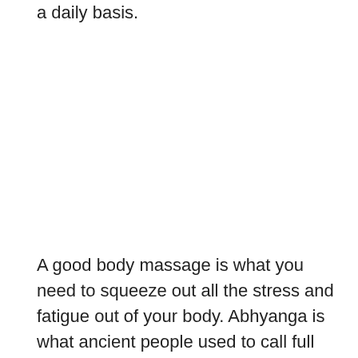a daily basis.
A good body massage is what you need to squeeze out all the stress and fatigue out of your body. Abhyanga is what ancient people used to call full body massage therapy in Sanskrit. They use some